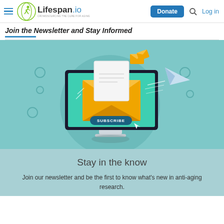Lifespan.io — Donate | Log in
Join the Newsletter and Stay Informed
[Figure (illustration): Flat design illustration of a computer monitor displaying an envelope with a letter inside, flying paper plane, email notification icons, and a 'SUBSCRIBE' button, on a teal background.]
Stay in the know
Join our newsletter and be the first to know what's new in anti-aging research.